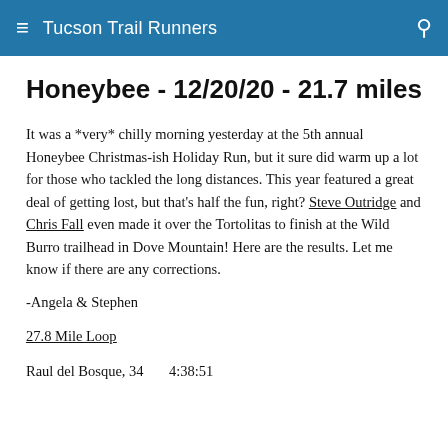Tucson Trail Runners
Honeybee - 12/20/20 - 21.7 miles
It was a *very* chilly morning yesterday at the 5th annual Honeybee Christmas-ish Holiday Run, but it sure did warm up a lot for those who tackled the long distances. This year featured a great deal of getting lost, but that's half the fun, right? Steve Outridge and Chris Fall even made it over the Tortolitas to finish at the Wild Burro trailhead in Dove Mountain! Here are the results. Let me know if there are any corrections.
-Angela & Stephen
27.8 Mile Loop
Raul del Bosque, 34       4:38:51